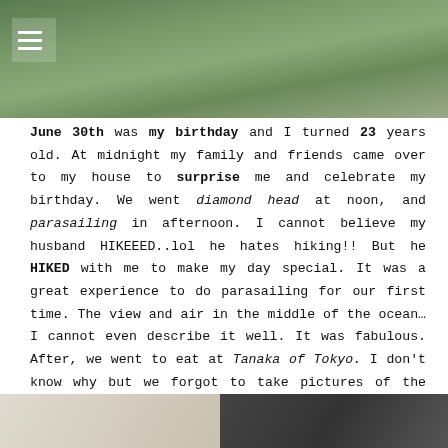[Figure (photo): Top portion of a photo showing a person outdoors near a wooden railing with green foliage in the background. Hamburger menu icon overlay in top-left corner.]
June 30th was my birthday and I turned 23 years old. At midnight my family and friends came over to my house to surprise me and celebrate my birthday. We went diamond head at noon, and parasailing in afternoon. I cannot believe my husband HIKEEED..lol he hates hiking!! But he HIKED with me to make my day special. It was a great experience to do parasailing for our first time. The view and air in the middle of the ocean…I cannot even describe it well. It was fabulous. After, we went to eat at Tanaka of Tokyo. I don't know why but we forgot to take pictures of the amazing cooking performance. Thanks to my husband and my friends, it was Perfect…………until I got bad stomach ache and had to sleep over in my friend's house. I felt tons of love that day.
[Figure (photo): Bottom strip showing partial photos — left side appears light/beige toned, right side appears dark/black toned.]